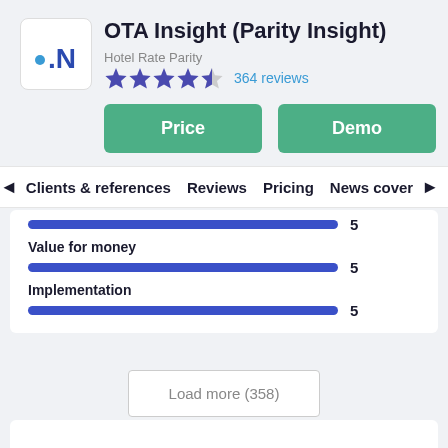[Figure (logo): OTA Insight logo — blue dot and N letter mark]
OTA Insight (Parity Insight)
Hotel Rate Parity
[Figure (other): 4.5 star rating with 364 reviews]
364 reviews
Price
Demo
Clients & references   Reviews   Pricing   News cover
5
Value for money
5
Implementation
5
Load more (358)